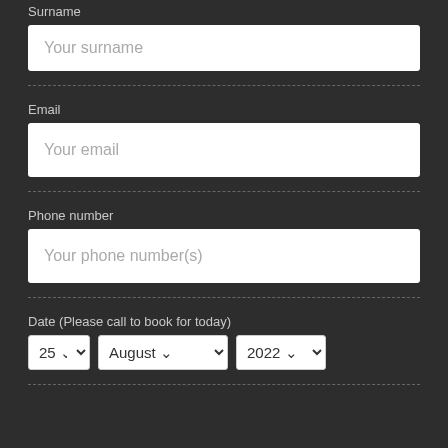Surname
Your surname
Email
Your email
Phone number
Your phone number(s)
Date (Please call to book for today)
25 | August | 2022